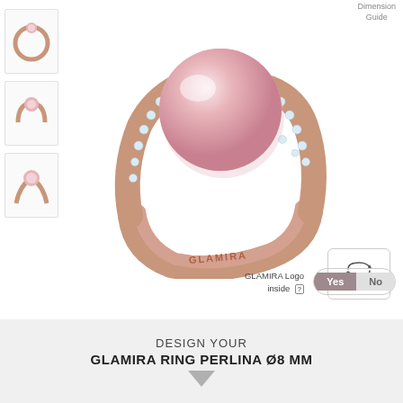Dimension Guide
[Figure (photo): Small thumbnail of ring - top view, rose gold with pearl, view 1]
[Figure (photo): Small thumbnail of ring - side view, rose gold with pink pearl, view 2]
[Figure (photo): Small thumbnail of ring - angled view, rose gold with pink pearl, view 3]
[Figure (photo): Main large 3D render of Glamira Ring Perlina with pink pearl and rose gold band with diamonds, showing GLAMIRA logo engraved inside band]
[Figure (other): 360 degree rotation button icon]
GLAMIRA Logo inside [?]
Yes  No
DESIGN YOUR
GLAMIRA RING PERLINA Ø8 MM